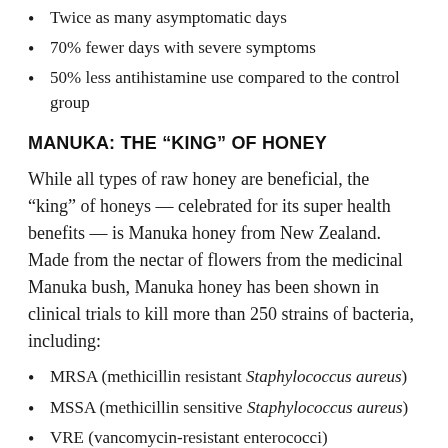Twice as many asymptomatic days
70% fewer days with severe symptoms
50% less antihistamine use compared to the control group
MANUKA: THE “KING” OF HONEY
While all types of raw honey are beneficial, the “king” of honeys — celebrated for its super health benefits — is Manuka honey from New Zealand. Made from the nectar of flowers from the medicinal Manuka bush, Manuka honey has been shown in clinical trials to kill more than 250 strains of bacteria, including:
MRSA (methicillin resistant Staphylococcus aureus)
MSSA (methicillin sensitive Staphylococcus aureus)
VRE (vancomycin-resistant enterococci)